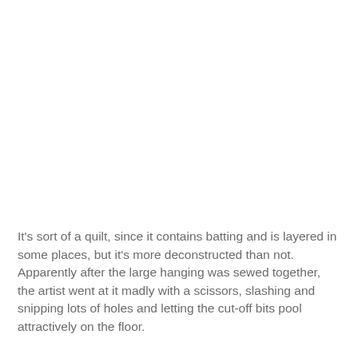It's sort of a quilt, since it contains batting and is layered in some places, but it's more deconstructed than not. Apparently after the large hanging was sewed together, the artist went at it madly with a scissors, slashing and snipping lots of holes and letting the cut-off bits pool attractively on the floor.